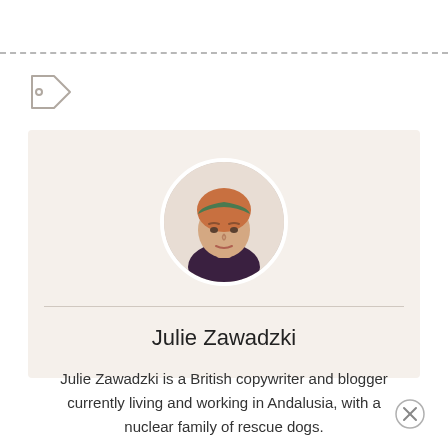[Figure (photo): Tag/label icon in light gray]
[Figure (photo): Circular portrait photo of Julie Zawadzki, a woman with reddish-blonde hair wearing a green headband and dark top]
Julie Zawadzki
Julie Zawadzki is a British copywriter and blogger currently living and working in Andalusia, with a nuclear family of rescue dogs.
[Figure (illustration): Close/X button circle in bottom right corner]